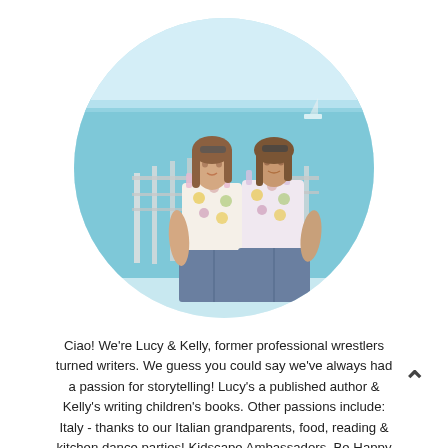[Figure (photo): Circular cropped photo of two young women standing together outdoors by a balcony railing with a turquoise sea behind them. Both wear matching floral patterned tops and denim shorts, with sunglasses on their heads.]
Ciao! We're Lucy & Kelly, former professional wrestlers turned writers. We guess you could say we've always had a passion for storytelling! Lucy's a published author & Kelly's writing children's books. Other passions include: Italy - thanks to our Italian grandparents, food, reading & kitchen dance parties! Kidscape Ambassadors. Be Happy & Be Kind.